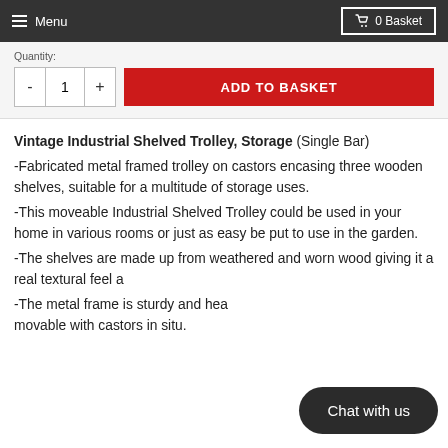Menu  0 Basket
Quantity:
- 1 +  ADD TO BASKET
Vintage Industrial Shelved Trolley, Storage (Single Bar)
-Fabricated metal framed trolley on castors encasing three wooden shelves, suitable for a multitude of storage uses.
-This moveable Industrial Shelved Trolley could be used in your home in various rooms or just as easy be put to use in the garden.
-The shelves are made up from weathered and worn wood giving it a real textural feel a...
-The metal frame is sturdy and hea... movable with castors in situ.
Chat with us